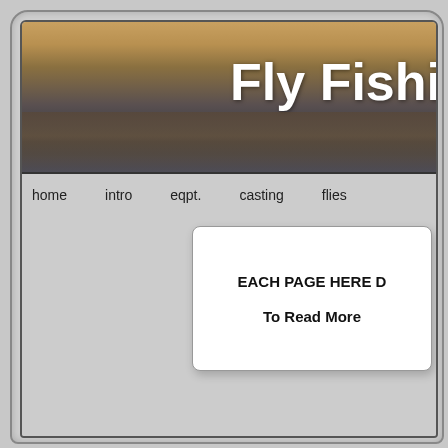[Figure (screenshot): Website screenshot showing a fly fishing website with a sunset/lake banner image, navigation menu, and a white info card popup]
Fly Fishi
home
intro
eqpt.
casting
flies
EACH PAGE HERE D
To Read More